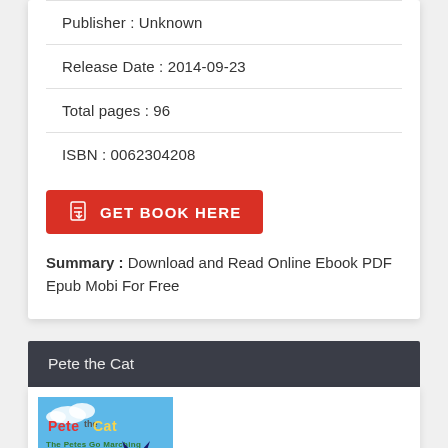Publisher : Unknown
Release Date : 2014-09-23
Total pages : 96
ISBN : 0062304208
GET BOOK HERE
Summary : Download and Read Online Ebook PDF Epub Mobi For Free
Pete the Cat
[Figure (illustration): Book cover of Pete the Cat: The Petes Go Marching, showing cartoon blue cats on a blue background with colorful text]